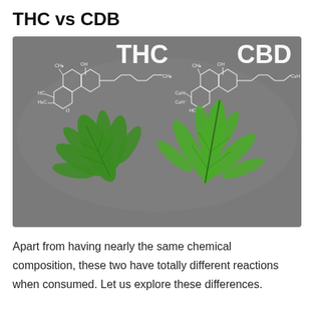THC vs CDB
[Figure (photo): Side-by-side comparison of THC and CBD chemical molecular structures drawn in white lines on a gray background, with two green cannabis leaves placed below each label on the same gray background. Left side is labeled THC, right side is labeled CBD.]
Apart from having nearly the same chemical composition, these two have totally different reactions when consumed. Let us explore these differences.